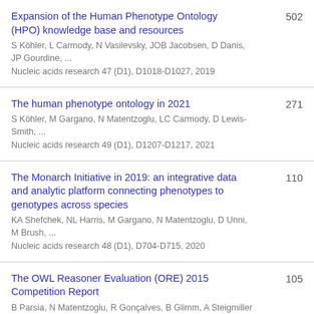Expansion of the Human Phenotype Ontology (HPO) knowledge base and resources | S Köhler, L Carmody, N Vasilevsky, JOB Jacobsen, D Danis, JP Gourdine, ... | Nucleic acids research 47 (D1), D1018-D1027, 2019 | 502
The human phenotype ontology in 2021 | S Köhler, M Gargano, N Matentzoglu, LC Carmody, D Lewis-Smith, ... | Nucleic acids research 49 (D1), D1207-D1217, 2021 | 271
The Monarch Initiative in 2019: an integrative data and analytic platform connecting phenotypes to genotypes across species | KA Shefchek, NL Harris, M Gargano, N Matentzoglu, D Unni, M Brush, ... | Nucleic acids research 48 (D1), D704-D715, 2020 | 110
The OWL Reasoner Evaluation (ORE) 2015 Competition Report | B Parsia, N Matentzoglu, R Gonçalves, B Glimm, A Steigmiller | Journal of Automated Reasoning, 2017 | 105
Characterising the COVID-... (partial) | [cut off]